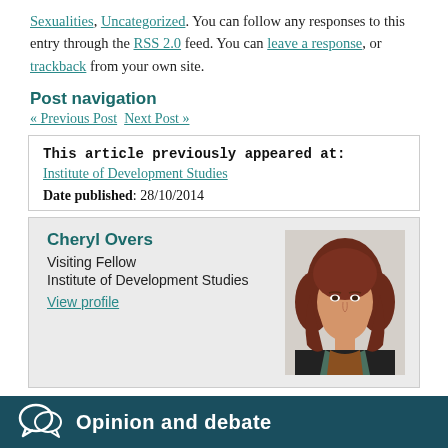Sexualities, Uncategorized. You can follow any responses to this entry through the RSS 2.0 feed. You can leave a response, or trackback from your own site.
Post navigation
« Previous Post  Next Post »
This article previously appeared at:
Institute of Development Studies
Date published: 28/10/2014
Cheryl Overs
Visiting Fellow
Institute of Development Studies
View profile
[Figure (photo): Portrait photo of Cheryl Overs, a woman with dark red hair]
Opinion and debate